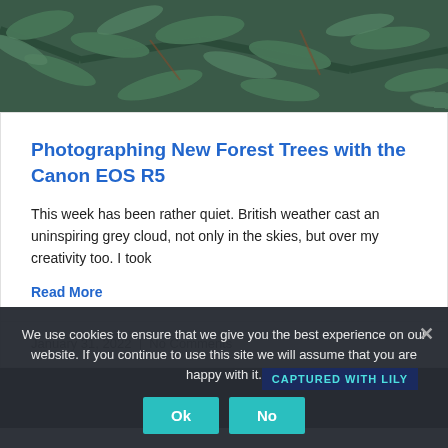[Figure (photo): Close-up photo of pine/fir tree branches with blue-green needles]
Photographing New Forest Trees with the Canon EOS R5
This week has been rather quiet. British weather cast an uninspiring grey cloud, not only in the skies, but over my creativity too. I took
Read More
January 31, 2022  |  No Comments
We use cookies to ensure that we give you the best experience on our website. If you continue to use this site we will assume that you are happy with it.